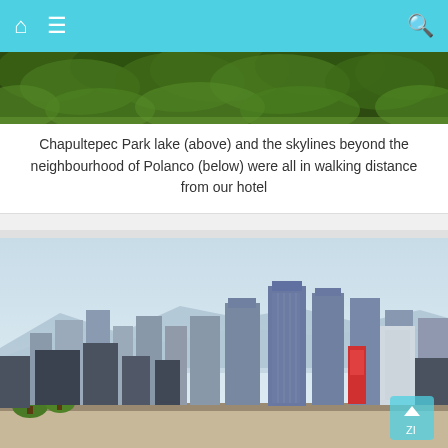Navigation bar with home, menu, and search icons
[Figure (photo): Aerial view of Chapultepec Park with dense green tree canopy]
Chapultepec Park lake (above) and the skylines beyond the neighbourhood of Polanco (below) were all in walking distance from our hotel
[Figure (photo): City skyline of Mexico City showing tall modern buildings and skyscrapers against a hazy blue sky with mountains in the background, view from Polanco neighbourhood]